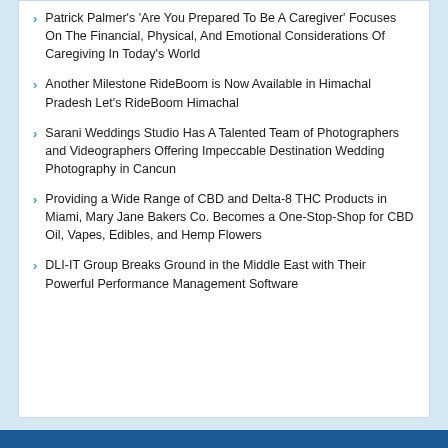Patrick Palmer's 'Are You Prepared To Be A Caregiver' Focuses On The Financial, Physical, And Emotional Considerations Of Caregiving In Today's World
Another Milestone RideBoom is Now Available in Himachal Pradesh Let's RideBoom Himachal
Sarani Weddings Studio Has A Talented Team of Photographers and Videographers Offering Impeccable Destination Wedding Photography in Cancun
Providing a Wide Range of CBD and Delta-8 THC Products in Miami, Mary Jane Bakers Co. Becomes a One-Stop-Shop for CBD Oil, Vapes, Edibles, and Hemp Flowers
DLI-IT Group Breaks Ground in the Middle East with Their Powerful Performance Management Software